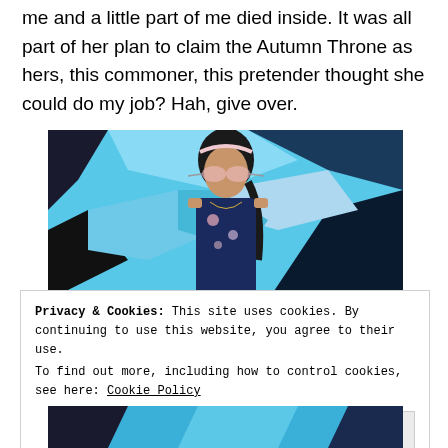me and a little part of me died inside. It was all part of her plan to claim the Autumn Throne as hers, this commoner, this pretender thought she could do my job? Hah, give over.
[Figure (photo): Young woman with dark hair in a braid, wearing cat-eye sunglasses and a floral navy blue dress, standing in front of a blue graffiti wall]
Privacy & Cookies: This site uses cookies. By continuing to use this website, you agree to their use.
To find out more, including how to control cookies, see here: Cookie Policy
Close and accept